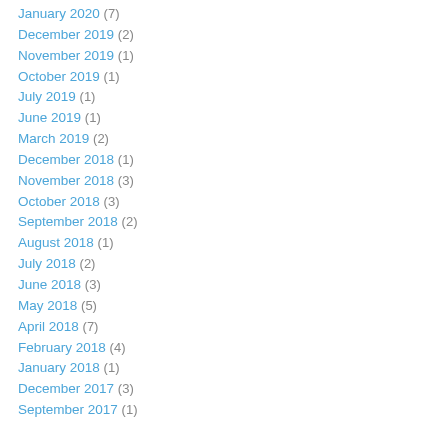January 2020 (7)
December 2019 (2)
November 2019 (1)
October 2019 (1)
July 2019 (1)
June 2019 (1)
March 2019 (2)
December 2018 (1)
November 2018 (3)
October 2018 (3)
September 2018 (2)
August 2018 (1)
July 2018 (2)
June 2018 (3)
May 2018 (5)
April 2018 (7)
February 2018 (4)
January 2018 (1)
December 2017 (3)
September 2017 (1)